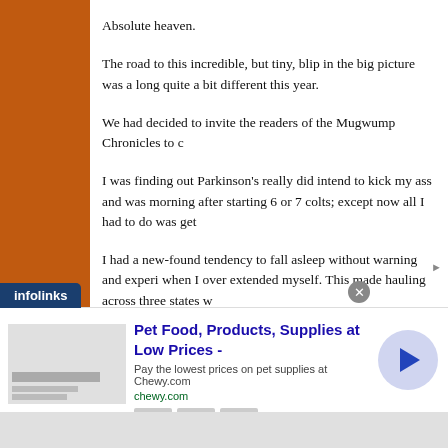Absolute heaven.
The road to this incredible, but tiny, blip in the big picture was a long quite a bit different this year.
We had decided to invite the readers of the Mugwump Chronicles to c
I was finding out Parkinson’s really did intend to kick my ass and was morning after starting 6 or 7 colts; except now all I had to do was get
I had a new-found tendency to fall asleep without warning and experi when I over extended myself. This made hauling across three states w
It was really, seriously, pissing me off.
For whatever reason, my family was objecting even more than usual a days. Crybabies.
“You shouldn’t be out there aloooone.”
[Figure (screenshot): Advertisement for Chewy.com pet food and supplies, with infolinks label at bottom left and a circular arrow button on the right.]